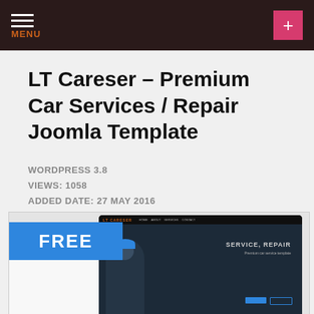MENU
LT Careser – Premium Car Services / Repair Joomla Template
WORDPRESS 3.8
VIEWS: 1058
ADDED DATE: 27 MAY 2016
BY LTHEME   LIKE ♥ 1
[Figure (screenshot): Preview of LT Careser Joomla template showing a FREE badge and a laptop mockup with a mechanic and SERVICE, REPAIR text on screen]